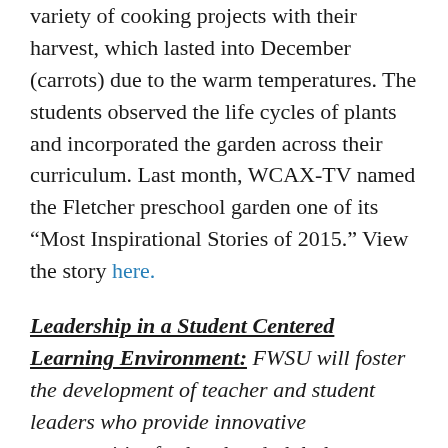their produce garden. They participated in a variety of cooking projects with their harvest, which lasted into December (carrots) due to the warm temperatures. The students observed the life cycles of plants and incorporated the garden across their curriculum. Last month, WCAX-TV named the Fletcher preschool garden one of its “Most Inspirational Stories of 2015.” View the story here.
Leadership in a Student Centered Learning Environment:
FWSU will foster the development of teacher and student leaders who provide innovative opportunities for local and global